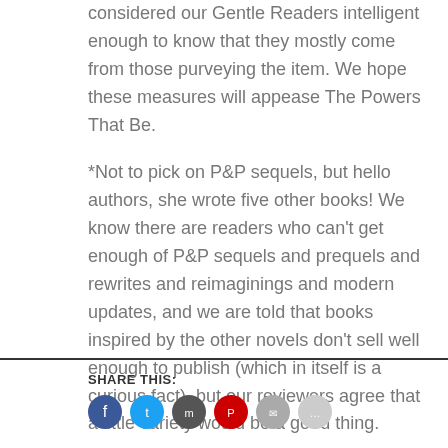considered our Gentle Readers intelligent enough to know that they mostly come from those purveying the item. We hope these measures will appease The Powers That Be.

*Not to pick on P&P sequels, but hello authors, she wrote five other books! We know there are readers who can't get enough of P&P sequels and prequels and rewrites and reimaginings and modern updates, and we are told that books inspired by the other novels don't sell well enough to publish (which in itself is a curious fact), but our reviewers agree that a little variety would be a good thing.
SHARE THIS: